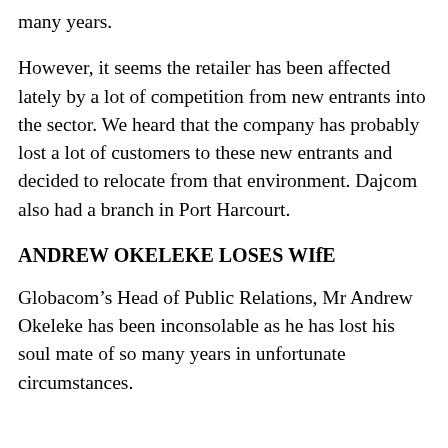many years.
However, it seems the retailer has been affected lately by a lot of competition from new entrants into the sector. We heard that the company has probably lost a lot of customers to these new entrants and decided to relocate from that environment. Dajcom also had a branch in Port Harcourt.
ANDREW OKELEKE LOSES WIfE
Globacom’s Head of Public Relations, Mr Andrew Okeleke has been inconsolable as he has lost his soul mate of so many years in unfortunate circumstances.